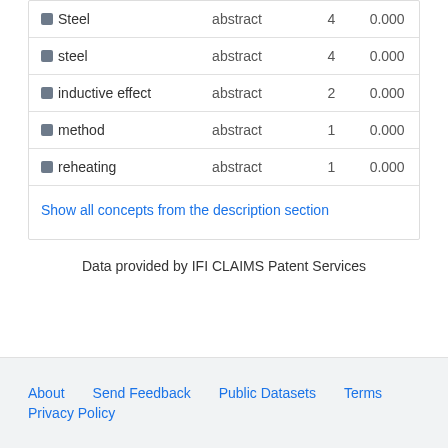| Concept | Section | Count | Score |
| --- | --- | --- | --- |
| Steel | abstract | 4 | 0.000 |
| steel | abstract | 4 | 0.000 |
| inductive effect | abstract | 2 | 0.000 |
| method | abstract | 1 | 0.000 |
| reheating | abstract | 1 | 0.000 |
Show all concepts from the description section
Data provided by IFI CLAIMS Patent Services
About   Send Feedback   Public Datasets   Terms   Privacy Policy